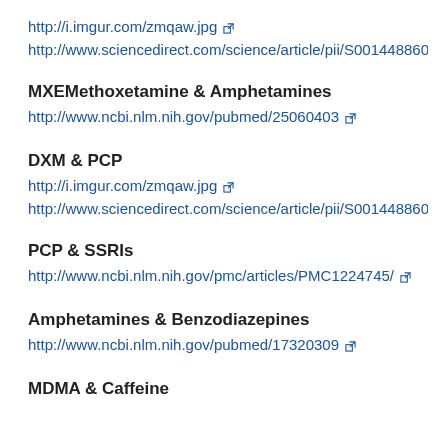http://i.imgur.com/zmqaw.jpg
http://www.sciencedirect.com/science/article/pii/S001448860700254
MXEMethoxetamine & Amphetamines
http://www.ncbi.nlm.nih.gov/pubmed/25060403
DXM & PCP
http://i.imgur.com/zmqaw.jpg
http://www.sciencedirect.com/science/article/pii/S001448860700254
PCP & SSRIs
http://www.ncbi.nlm.nih.gov/pmc/articles/PMC1224745/
Amphetamines & Benzodiazepines
http://www.ncbi.nlm.nih.gov/pubmed/17320309
MDMA & Caffeine